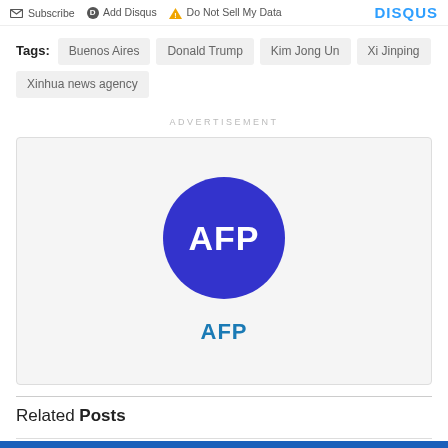Subscribe  Add Disqus  Do Not Sell My Data  DISQUS
Tags:  Buenos Aires  Donald Trump  Kim Jong Un  Xi Jinping  Xinhua news agency
ADVERTISEMENT
[Figure (logo): AFP logo: blue circle with white AFP text, followed by AFP name in blue]
Related Posts